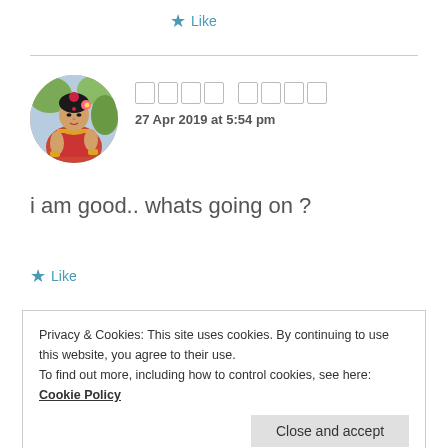★ Like
[Figure (photo): Circular avatar showing a woman in traditional Indian attire (Rajasthani style painting)]
□□□□ □□□□
27 Apr 2019 at 5:54 pm
i am good.. whats going on ?
★ Like
Privacy & Cookies: This site uses cookies. By continuing to use this website, you agree to their use.
To find out more, including how to control cookies, see here: Cookie Policy
Close and accept